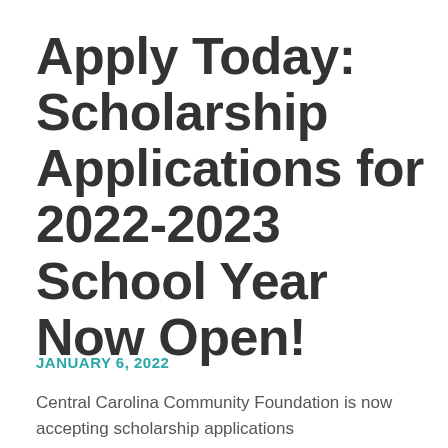Apply Today: Scholarship Applications for 2022-2023 School Year Now Open!
JANUARY 6, 2022
Central Carolina Community Foundation is now accepting scholarship applications